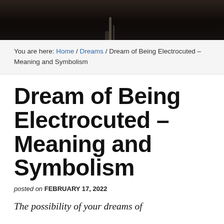[Figure (photo): Dark background photo showing a small plant or mushroom sprout emerging from soil, partially cropped at top of page]
You are here: Home / Dreams / Dream of Being Electrocuted – Meaning and Symbolism
Dream of Being Electrocuted – Meaning and Symbolism
posted on FEBRUARY 17, 2022
The possibility of your dreams of